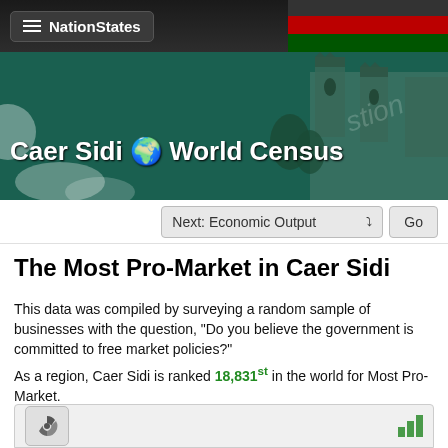NationStates
[Figure (illustration): NationStates banner with fantasy castle and fox character artwork, teal background, title 'Caer Sidi World Census']
Next: Economic Output  Go
The Most Pro-Market in Caer Sidi
This data was compiled by surveying a random sample of businesses with the question, "Do you believe the government is committed to free market policies?"
As a region, Caer Sidi is ranked 18,831st in the world for Most Pro-Market.
[Figure (screenshot): Rankings table row with nuclear/hazard icon on left and green bar chart icon on right]
[Figure (screenshot): Rankings table second row with Aboriginal flag in center and green trend arrow on right]